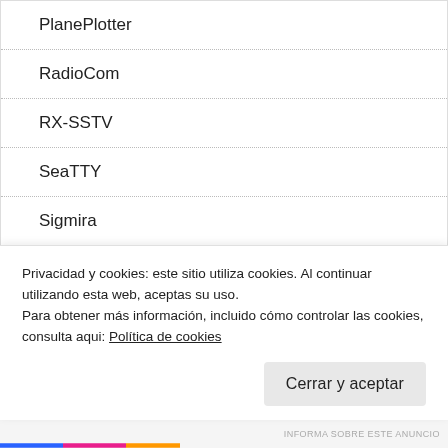PlanePlotter
RadioCom
RX-SSTV
SeaTTY
Sigmira
SODIRA
SondeMonitor
TrueTTY
Privacidad y cookies: este sitio utiliza cookies. Al continuar utilizando esta web, aceptas su uso.
Para obtener más información, incluido cómo controlar las cookies, consulta aqui: Política de cookies
Cerrar y aceptar